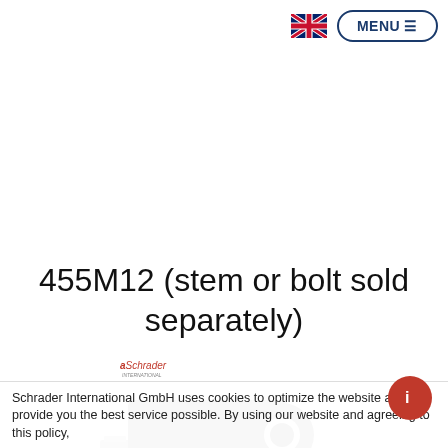[Figure (logo): UK flag icon and MENU button in top right corner]
455M12 (stem or bolt sold separately)
[Figure (photo): Schrader product photo - a black rubber TPMS sensor grommet/nut component with metal insert]
Schrader International GmbH uses cookies to optimize the website and provide you the best service possible. By using our website and agreeing to this policy,